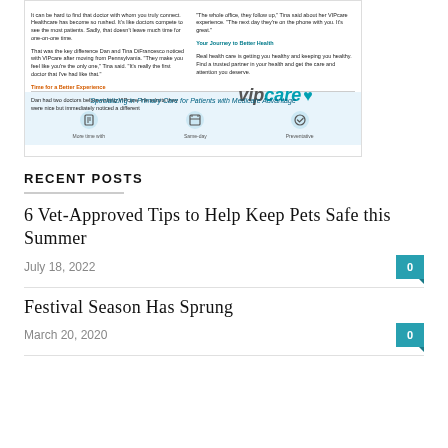[Figure (advertisement): VIPcare advertisement showing article text on left and right columns, VIPcare logo, and bottom banner with tagline 'Specializing in Primary Care for Patients with Medicare Advantage' with icons for 'More time with', 'Same-day', and 'Preventative']
RECENT POSTS
6 Vet-Approved Tips to Help Keep Pets Safe this Summer
July 18, 2022
Festival Season Has Sprung
March 20, 2020